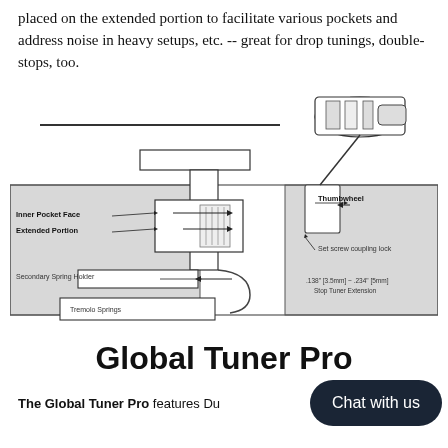placed on the extended portion to facilitate various pockets and address noise in heavy setups, etc. -- great for drop tunings, double-stops, too.
[Figure (engineering-diagram): Cross-section diagram of a tremolo/tuner mechanism showing labeled parts: Inner Pocket Face, Extended Portion, Secondary Spring Holder, Tremolo Springs, Thumbwheel, Set screw coupling lock, and .138" [3.5mm] ~ .234" [5mm] Stop Tuner Extension.]
Global Tuner Pro
The Global Tuner Pro features Du...
Chat with us